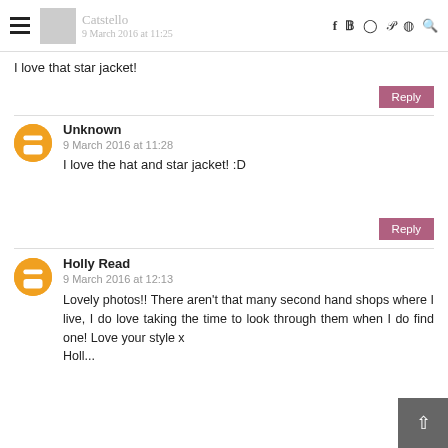Catstello | 9 March 2016 at 11:25
I love that star jacket!
Reply
Unknown
9 March 2016 at 11:28
I love the hat and star jacket! :D
Reply
Holly Read
9 March 2016 at 12:13
Lovely photos!! There aren't that many second hand shops where I live, I do love taking the time to look through them when I do find one! Love your style x
Holl...